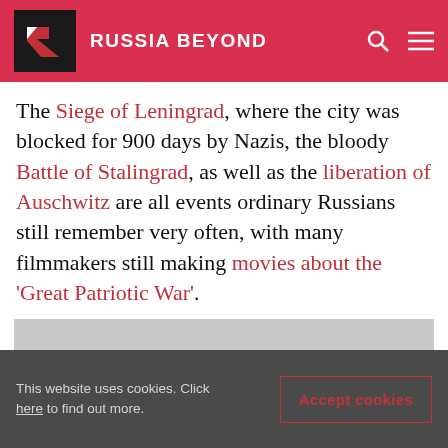RUSSIA BEYOND
The Siege of Leningrad, where the city was blocked for 900 days by Nazis, the bloody Battle of Stalingrad, as well as the liberation of Auschwitz are all events ordinary Russians still remember very often, with many filmmakers still making movies about the ‘Great Patriotic War’.
[Figure (photo): Black and white photograph of the Auschwitz concentration camp gate with the sign 'ARBEIT MACHT FREI']
This website uses cookies. Click here to find out more.
Accept cookies